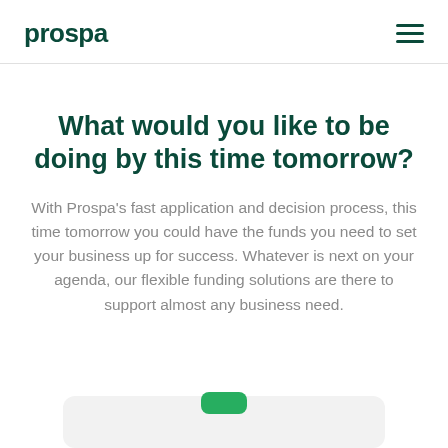prospa
What would you like to be doing by this time tomorrow?
With Prospa's fast application and decision process, this time tomorrow you could have the funds you need to set your business up for success. Whatever is next on your agenda, our flexible funding solutions are there to support almost any business need.
[Figure (illustration): Partial card/widget preview at the bottom of the page with a green rounded element visible at the top center of the card]